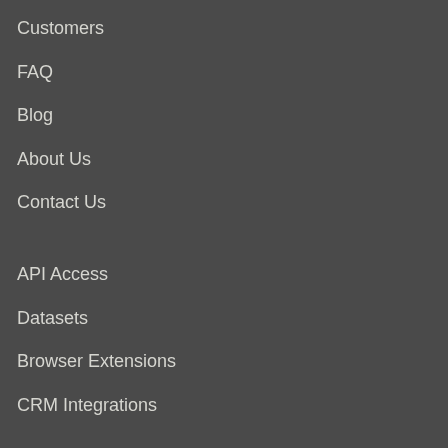Customers
FAQ
Blog
About Us
Contact Us
API Access
Datasets
Browser Extensions
CRM Integrations